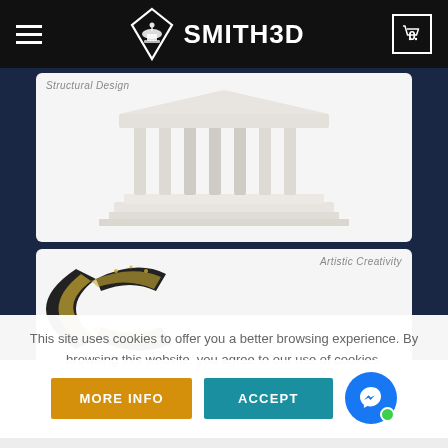SMITH3D — navigation bar with hamburger menu, logo, and cart icon showing 0
[Figure (screenshot): Screenshot of Smith3D website showing two product image cards. Top card shows a 3D printed white Greek temple/colonnade structure with label 'Structural Design'. Bottom card shows a decorative golden 3D printed letter/ornament with label 'Artistic Creativity'. Both cards are displayed on a dark navy blue background.]
This site uses cookies to offer you a better browsing experience. By browsing this website, you agree to our use of cookies.
MORE INFO
ACCEPT